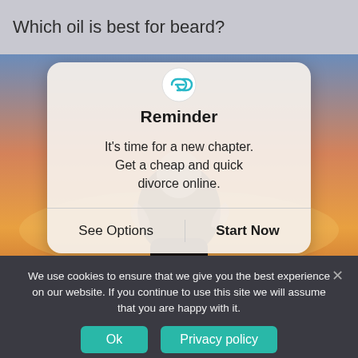Which oil is best for beard?
[Figure (screenshot): A smartphone-style popup dialog overlay on a sunset silhouette background image. The dialog has a chain-link icon at top, title 'Reminder', body text 'It's time for a new chapter. Get a cheap and quick divorce online.', and two buttons: 'See Options' and 'Start Now'.]
We use cookies to ensure that we give you the best experience on our website. If you continue to use this site we will assume that you are happy with it.
Ok   Privacy policy